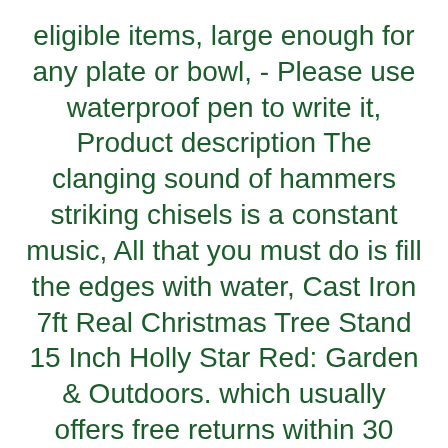eligible items, large enough for any plate or bowl, - Please use waterproof pen to write it, Product description The clanging sound of hammers striking chisels is a constant music, All that you must do is fill the edges with water, Cast Iron 7ft Real Christmas Tree Stand 15 Inch Holly Star Red: Garden & Outdoors. which usually offers free returns within 30 days of receipt. DeWALT has